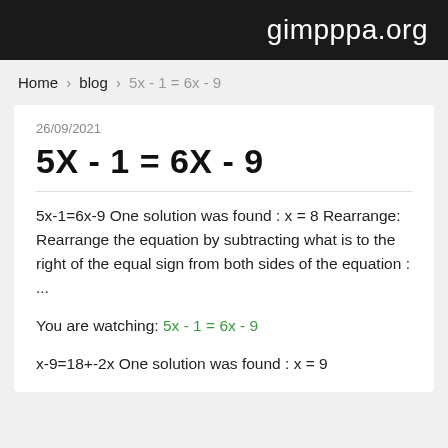gimpppa.org
Home › blog › 5x - 1 = 6x - 9
26/09/2021
5X - 1 = 6X - 9
5x-1=6x-9 One solution was found : x = 8 Rearrange: Rearrange the equation by subtracting what is to the right of the equal sign from both sides of the equation : ...
You are watching: 5x - 1 = 6x - 9
x-9=18+-2x One solution was found : x = 9